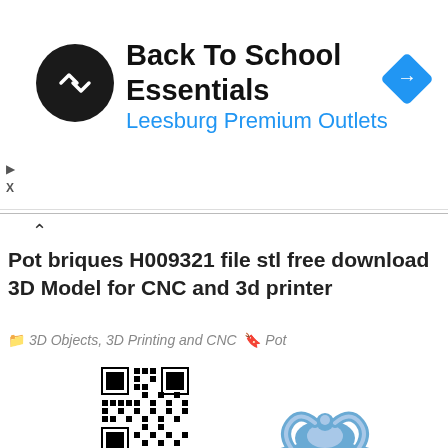[Figure (screenshot): Advertisement banner for Back To School Essentials at Leesburg Premium Outlets. Black circular logo with arrow icon on left, blue diamond navigation icon on right. Play and X controls on far left.]
▷
X
Pot briques H009321 file stl free download 3D Model for CNC and 3d printer
3D Objects, 3D Printing and CNC   Pot
[Figure (photo): QR code image (black and white) on the left, and a 3D rendered model of a decorative ornate oval mirror frame in light blue color on the right. The frame features baroque-style filigree details at the top and sides with an oval opening in the center.]